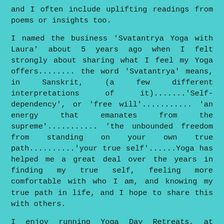and I often include uplifting readings from poems or insights too.
I named the business 'Svatantrya Yoga with Laura' about 5 years ago when I felt strongly about sharing what I feel my Yoga offers........ the word 'Svatantrya' means, in Sanskrit, (a few different interpretations of it).......'Self-dependency', or 'free will'........... 'an energy that emanates from the supreme'........... 'the unbounded freedom from standing on your own true path..........'your true self'......Yoga has helped me a great deal over the years in finding my true self, feeling more comfortable with who I am, and knowing my true path in life, and I hope to share this with others.
I enjoy running Yoga Day Retreats, at Essendine Village Hall, the days include Breath work to help get focused, gentle Yoga  which is really nice and slow, long held stretches, relaxing Yoga Nidra meditation, and we usually include a Reiki Drum Journey Meditation which is deeply relaxing and healing, and you might even meet your Spirit Animal or Guide(s), it's bring your own lunch, a we usually include a Chakra balancing/cleanse meditation and a beautiful Gong meditation to end the